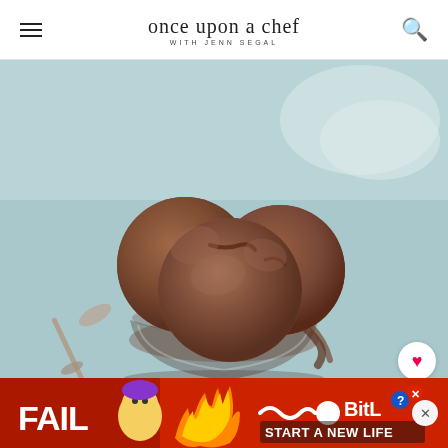once upon a chef WITH JENN SEGAL
[Figure (photo): Chocolate ice cream scoops in a clear glass bowl with a spoon on a light blue surface, with caramel or chocolate sauce dripping over the sides]
[Figure (infographic): Advertisement banner for BitLife mobile game with red background, cartoon character with fire flame graphic, and text FAIL START A NEW LIFE]